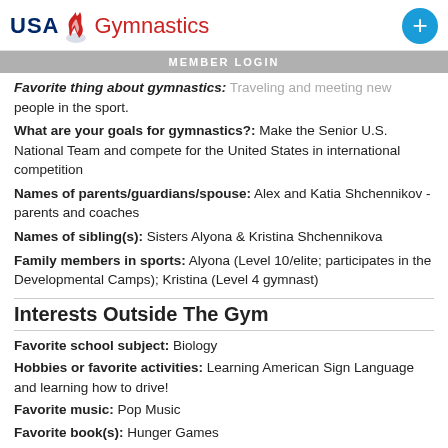USA Gymnastics | MEMBER LOGIN
Favorite thing about gymnastics: Traveling and meeting new people in the sport. What are your goals for gymnastics?: Make the Senior U.S. National Team and compete for the United States in international competition Names of parents/guardians/spouse: Alex and Katia Shchennikov - parents and coaches Names of sibling(s): Sisters Alyona & Kristina Shchennikova Family members in sports: Alyona (Level 10/elite; participates in the Developmental Camps); Kristina (Level 4 gymnast)
Interests Outside The Gym
Favorite school subject: Biology Hobbies or favorite activities: Learning American Sign Language and learning how to drive! Favorite music: Pop Music Favorite book(s): Hunger Games Favorite movie(s): Mulan and Pitch Perfect